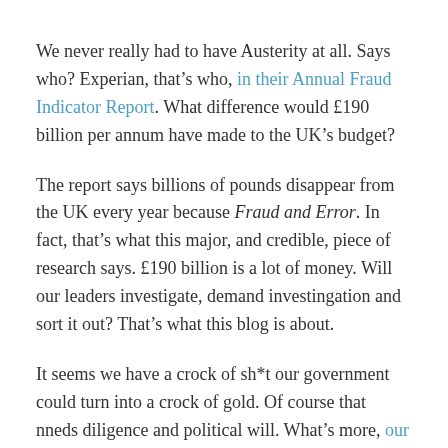We never really had to have Austerity at all. Says who? Experian, that’s who, in their Annual Fraud Indicator Report. What difference would £190 billion per annum have made to the UK’s budget?
The report says billions of pounds disappear from the UK every year because Fraud and Error. In fact, that’s what this major, and credible, piece of research says. £190 billion is a lot of money. Will our leaders investigate, demand investingation and sort it out? That’s what this blog is about.
It seems we have a crock of sh*t our government could turn into a crock of gold. Of course that nneds diligence and political will. What’s more, our government needs to get organized.